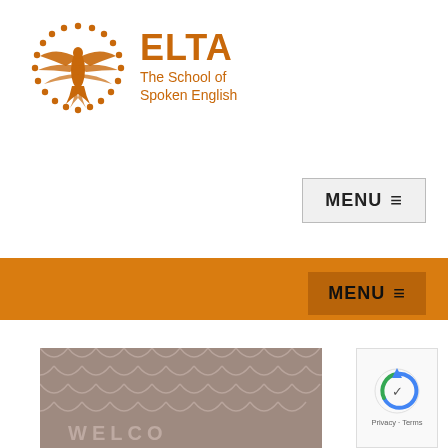[Figure (logo): ELTA bird logo — orange stylized bird with dotted oval border]
ELTA
The School of Spoken English
MENU ☰
[Figure (screenshot): Orange navigation bar with MENU button]
MENU ☰
[Figure (photo): Welcome mat photo showing textured fabric with WELCOME text partially visible]
[Figure (other): reCAPTCHA widget with Privacy · Terms text]